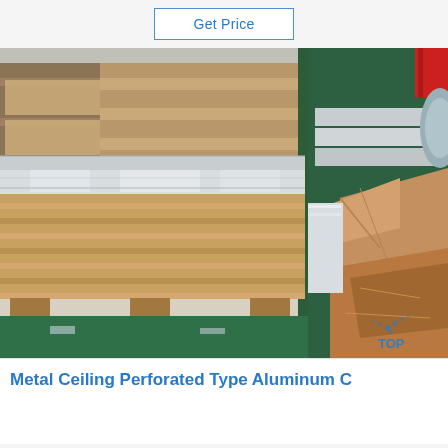Get Price
[Figure (photo): Warehouse/factory interior showing stacked aluminum or metal sheets on wooden pallets. Left side shows large flat sheets stacked horizontally on pallets in a green-floored facility. Right side shows metal sheets partially wrapped in brown paper packaging. A yellow stripe is visible on the floor. A 'TOP' watermark logo with blue dots appears in the lower right corner.]
Metal Ceiling Perforated Type Aluminum C